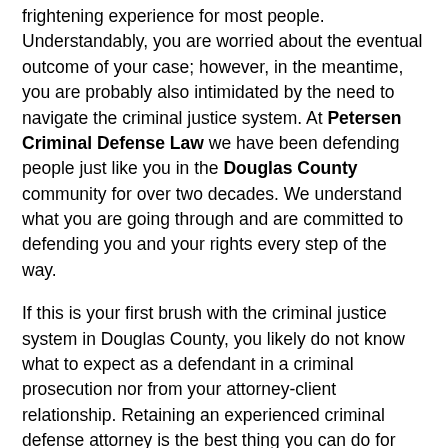frightening experience for most people. Understandably, you are worried about the eventual outcome of your case; however, in the meantime, you are probably also intimidated by the need to navigate the criminal justice system. At Petersen Criminal Defense Law we have been defending people just like you in the Douglas County community for over two decades. We understand what you are going through and are committed to defending you and your rights every step of the way.
If this is your first brush with the criminal justice system in Douglas County, you likely do not know what to expect as a defendant in a criminal prosecution nor from your attorney-client relationship. Retaining an experienced criminal defense attorney is the best thing you can do for yourself and your future after an arrest. Often, the police and/or prosecuting attorney will lead a defendant to believe that a conviction is a foregone conclusion. That is rarely the case. The truth is there are often defenses available that may prevent a conviction altogether or which can be used to negotiate a more favorable guilty plea agreement. It is imperative, however, that you exercise your right to remain